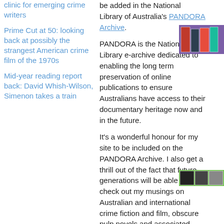clinic for emerging crime writers
Prime Cut at 50: looking back at possibly the strangest American crime film of the 1970s
Mid-year reading report back: David Whish-Wilson, Simenon takes a train
be added in the National Library of Australia's PANDORA Archive.
PANDORA is the National Library e-archive dedicated to enabling the long term preservation of online publications to ensure Australians have access to their documentary heritage now and in the future.
It's a wonderful honour for my site to be included on the PANDORA Archive. I also get a thrill out of the fact that future generations will be able to check out my musings on Australian and international crime fiction and film, obscure pulp novels and associated topics.
[Figure (photo): Thumbnail image with purple background showing book covers or crime-related imagery]
[Figure (photo): Small green-background thumbnail image showing book or media covers]